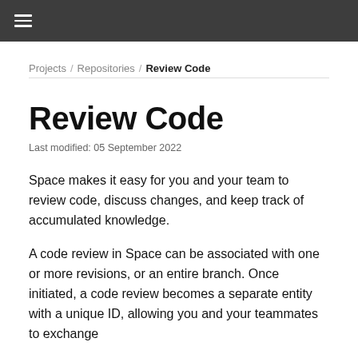≡
Projects / Repositories / Review Code
Review Code
Last modified: 05 September 2022
Space makes it easy for you and your team to review code, discuss changes, and keep track of accumulated knowledge.
A code review in Space can be associated with one or more revisions, or an entire branch. Once initiated, a code review becomes a separate entity with a unique ID, allowing you and your teammates to exchange